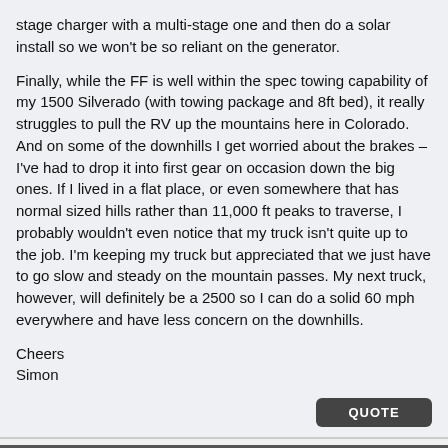stage charger with a multi-stage one and then do a solar install so we won't be so reliant on the generator.
Finally, while the FF is well within the spec towing capability of my 1500 Silverado (with towing package and 8ft bed), it really struggles to pull the RV up the mountains here in Colorado. And on some of the downhills I get worried about the brakes – I've had to drop it into first gear on occasion down the big ones. If I lived in a flat place, or even somewhere that has normal sized hills rather than 11,000 ft peaks to traverse, I probably wouldn't even notice that my truck isn't quite up to the job. I'm keeping my truck but appreciated that we just have to go slow and steady on the mountain passes. My next truck, however, will definitely be a 2500 so I can do a solid 60 mph everywhere and have less concern on the downhills.
Cheers
Simon
01-28-2017, 06:25 PM   #2
Join Date: Jan 2016